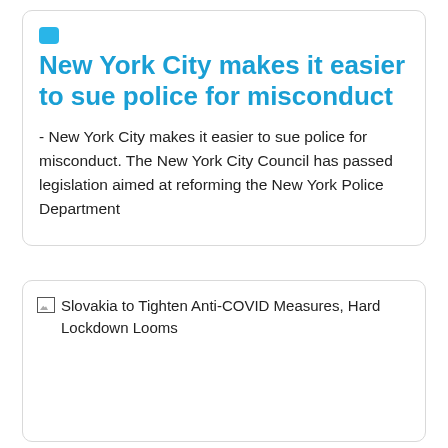New York City makes it easier to sue police for misconduct
- New York City makes it easier to sue police for misconduct. The New York City Council has passed legislation aimed at reforming the New York Police Department
[Figure (photo): Broken image placeholder for article: Slovakia to Tighten Anti-COVID Measures, Hard Lockdown Looms]